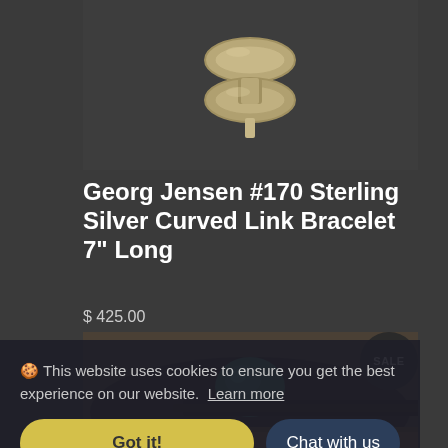[Figure (photo): Close-up photo of a Georg Jensen sterling silver curved link bracelet on a dark background]
Georg Jensen #170 Sterling Silver Curved Link Bracelet 7" Long
$ 425.00
[Figure (photo): Second product photo showing a different piece of jewelry with blue-green stone]
SALE
🍪 This website uses cookies to ensure you get the best experience on our website. Learn more
Got it!
Chat with us